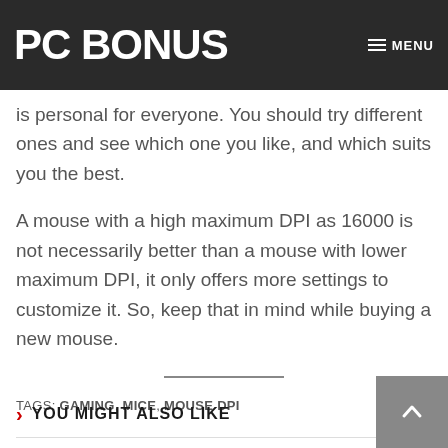PC BONUS | MENU
mouse's sensitivity. The ideal DPI is personal for everyone. You should try different ones and see which one you like, and which suits you the best.
A mouse with a high maximum DPI as 16000 is not necessarily better than a mouse with lower maximum DPI, it only offers more settings to customize it. So, keep that in mind while buying a new mouse.
TAGS: GAMING, MICE, MOUSE DPI
YOU MIGHT ALSO LIKE